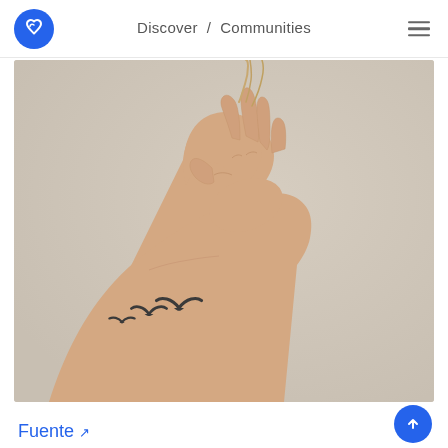Discover / Communities
[Figure (photo): A hand holding a string/stick with three small bird silhouette tattoos on the wrist, against a neutral beige background.]
Fuente ↗